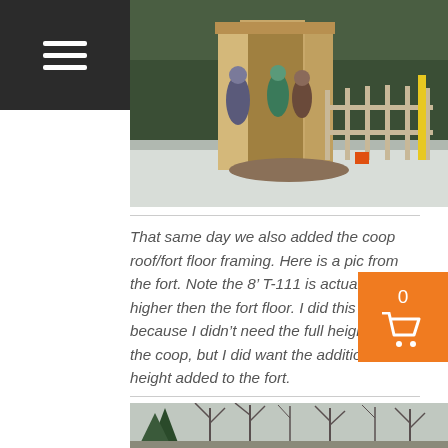[Figure (photo): People constructing a wooden shed/coop structure outdoors in winter with snow on the ground and evergreen trees in background]
That same day we also added the coop roof/fort floor framing. Here is a pic from the fort. Note the 8’ T-111 is actually higher then the fort floor. I did this because I didn’t need the full height in the coop, but I did want the additional height added to the fort.
[Figure (photo): Outdoor winter scene with bare trees and evergreen trees, wooded area]